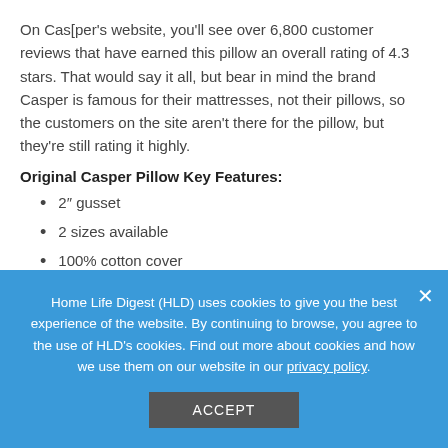On Casper's website, you'll see over 6,800 customer reviews that have earned this pillow an overall rating of 4.3 stars. That would say it all, but bear in mind the brand Casper is famous for their mattresses, not their pillows, so the customers on the site aren't there for the pillow, but they're still rating it highly.
Original Casper Pillow Key Features:
2″ gusset
2 sizes available
100% cotton cover
Who Should Buy a Side Sleeper Pillow
Home Life Digest (HLD) uses cookies to give you the best experience of the website. By continuing to browse, you agree to the use of HLD's cookies. Find out more about cookies and how we use them on our website in our privacy policy.